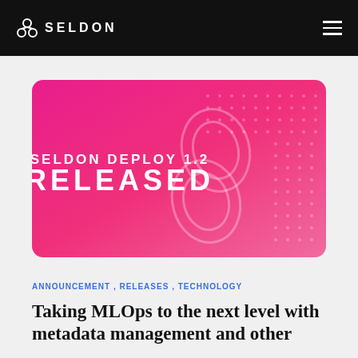SELDON
[Figure (illustration): Pink/magenta banner card with Seldon logo outline graphic and text 'SELDON DEPLOY 1.2 RELEASED' with dot pattern background]
ANNOUNCEMENT, RELEASES, TECHNOLOGY
Taking MLOps to the next level with metadata management and other